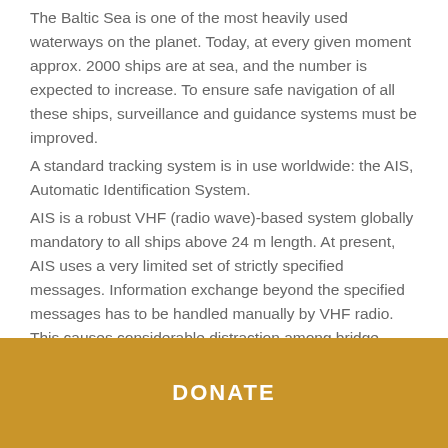The Baltic Sea is one of the most heavily used waterways on the planet. Today, at every given moment approx. 2000 ships are at sea, and the number is expected to increase. To ensure safe navigation of all these ships, surveillance and guidance systems must be improved.
A standard tracking system is in use worldwide: the AIS, Automatic Identification System.
AIS is a robust VHF (radio wave)-based system globally mandatory to all ships above 24 m length. At present, AIS uses a very limited set of strictly specified messages. Information exchange beyond the specified messages has to be handled manually by VHF radio. This causes considerable distraction among bridge personnel that should concentrate on navigation. In fact, almost all accidents are caused by human error and many of them by
DONATE